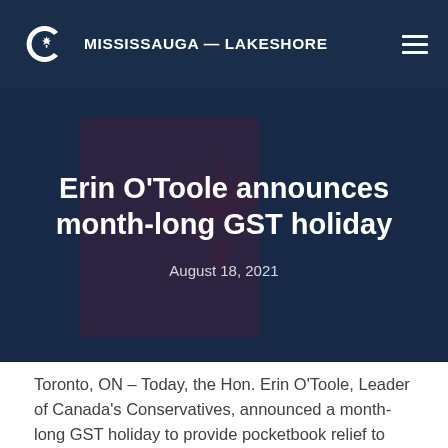MISSISSAUGA — LAKESHORE
Erin O'Toole announces month-long GST holiday
August 18, 2021
Toronto, ON – Today, the Hon. Erin O'Toole, Leader of Canada's Conservatives, announced a month-long GST holiday to provide pocketbook relief to Canadian families and support local retailers (the setting has been cut off)